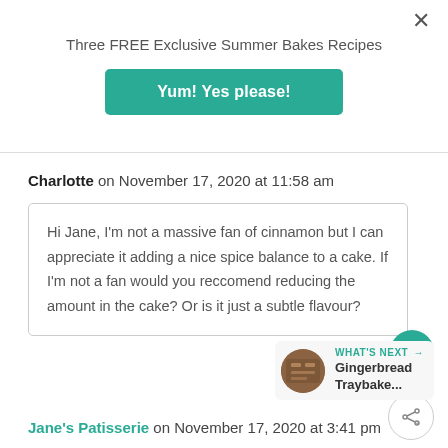Three FREE Exclusive Summer Bakes Recipes
Yum! Yes please!
Charlotte on November 17, 2020 at 11:58 am
Hi Jane, I'm not a massive fan of cinnamon but I can appreciate it adding a nice spice balance to a cake. If I'm not a fan would you reccomend reducing the amount in the cake? Or is it just a subtle flavour?
WHAT'S NEXT → Gingerbread Traybake...
Jane's Patisserie on November 17, 2020 at 3:41 pm